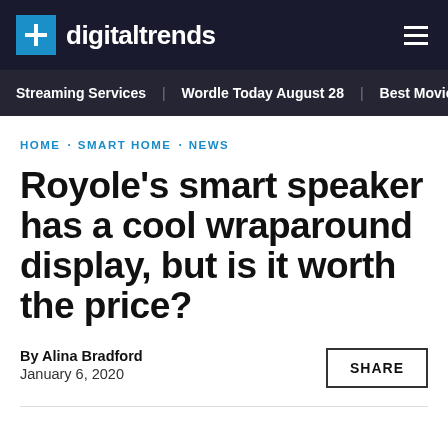digitaltrends
Streaming Services · Wordle Today August 28 · Best Movies c
HOME · SMART HOME · NEWS
Royole's smart speaker has a cool wraparound display, but is it worth the price?
By Alina Bradford
January 6, 2020